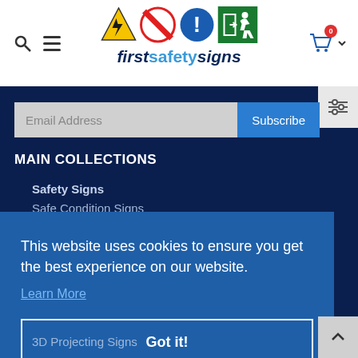[Figure (logo): firstsafetysigns logo with safety sign icons (electrical hazard, prohibition, mandatory, fire exit) above stylized text]
Email Address
Subscribe
MAIN COLLECTIONS
Safety Signs
Safe Condition Signs
This website uses cookies to ensure you get the best experience on our website.
Learn More
Got it!
3D Projecting Signs